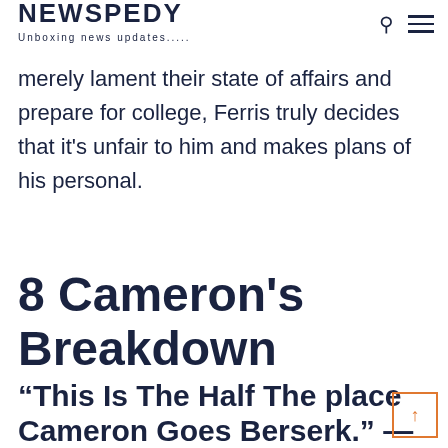NEWSPEDY — Unboxing news updates.....
merely lament their state of affairs and prepare for college, Ferris truly decides that it's unfair to him and makes plans of his personal.
8 Cameron's Breakdown
“This Is The Half The place Cameron Goes Berserk.” — Ferris.